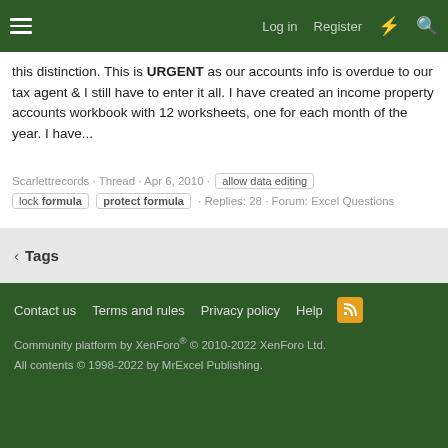Log in · Register
this distinction. This is URGENT as our accounts info is overdue to our tax agent & I still have to enter it all. I have created an income property accounts workbook with 12 worksheets, one for each month of the year. I have...
Scarlettrecords · Thread · Apr 6, 2010 · allow data editing · lock formula · protect formula · Replies: 28 · Forum: Excel Questions
Tags
Contact us · Terms and rules · Privacy policy · Help
Community platform by XenForo® © 2010-2022 XenForo Ltd.
All contents © 1998-2022 by MrExcel Publishing.